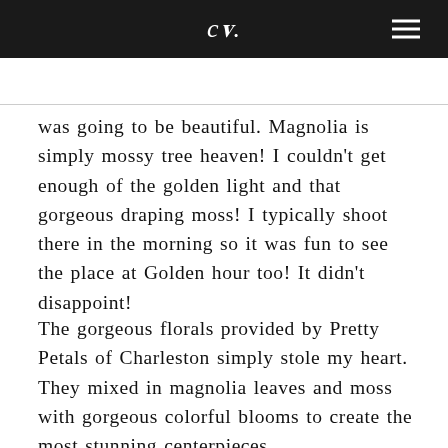ct. [logo] ≡ [menu]
was going to be beautiful. Magnolia is simply mossy tree heaven! I couldn't get enough of the golden light and that gorgeous draping moss! I typically shoot there in the morning so it was fun to see the place at Golden hour too! It didn't disappoint!
The gorgeous florals provided by Pretty Petals of Charleston simply stole my heart. They mixed in magnolia leaves and moss with gorgeous colorful blooms to create the most stunning centerpieces